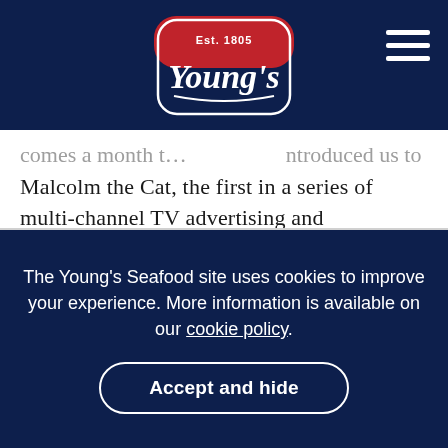[Figure (logo): Young's Seafood logo — red and navy badge shape with 'Est. 1805' text and stylized 'Young's' wordmark in white serif font]
comes a month t... introduced us to Malcolm the Cat, the first in a series of multi-channel TV advertising and promotional activity, by Quiet Storm, the creative agency appointed in 2014. Voiced by Rupert Everett, Malcolm is a discerning foodie cat who longs to share his owner's delicious Young's fish products.
The Young's Seafood site uses cookies to improve your experience. More information is available on our cookie policy.
Accept and hide